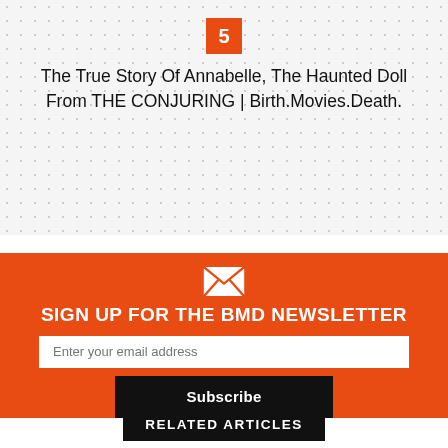5
The True Story Of Annabelle, The Haunted Doll From THE CONJURING | Birth.Movies.Death.
[Figure (infographic): Orange newsletter signup box with envelope icon, heading 'SIGN UP FOR THE BMD NEWSLETTER', email input field, and Subscribe button]
RELATED ARTICLES